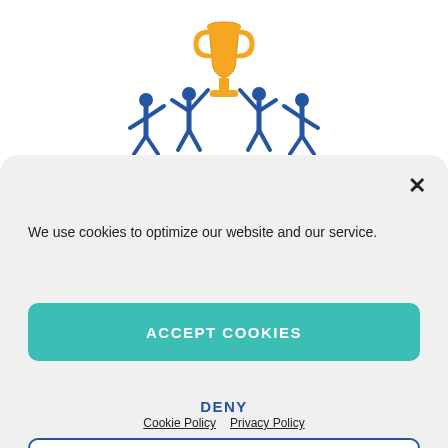[Figure (illustration): Blue stick figures holding up a golden trophy cup above their heads]
We use cookies to optimize our website and our service.
ACCEPT COOKIES
DENY
VIEW PREFERENCES
Cookie Policy  Privacy Policy